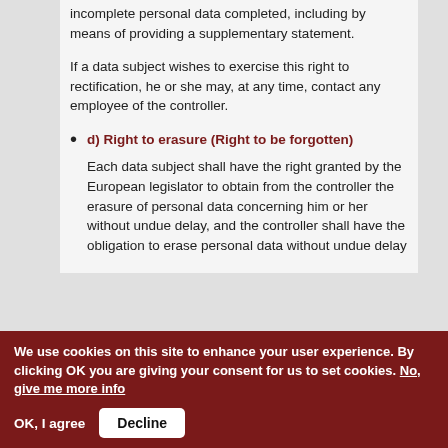incomplete personal data completed, including by means of providing a supplementary statement.
If a data subject wishes to exercise this right to rectification, he or she may, at any time, contact any employee of the controller.
d) Right to erasure (Right to be forgotten)
Each data subject shall have the right granted by the European legislator to obtain from the controller the erasure of personal data concerning him or her without undue delay, and the controller shall have the obligation to erase personal data without undue delay
We use cookies on this site to enhance your user experience. By clicking OK you are giving your consent for us to set cookies. No, give me more info
OK, I agree   Decline